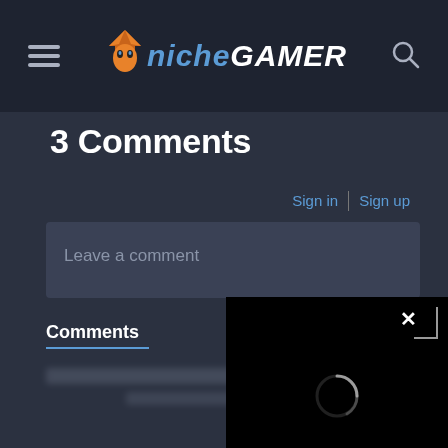Niche Gamer - navigation bar with hamburger menu, logo, and search icon
3 Comments
Sign in | Sign up
Leave a comment
Comments | Sort by Recent
[Figure (screenshot): Black popup overlay showing a loading spinner (circle outline) and a close button (X) in the top-right corner with bracket decoration]
[blurred comment content]
[blurred comment content]